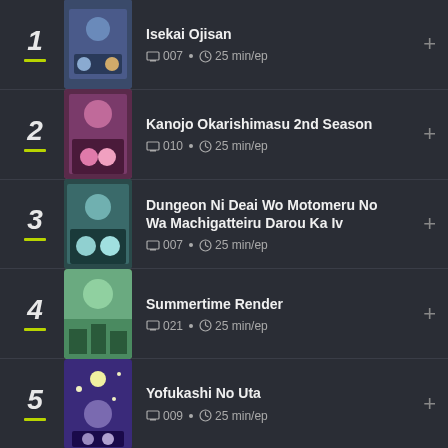1 Isekai Ojisan — 007 • 25 min/ep
2 Kanojo Okarishimasu 2nd Season — 010 • 25 min/ep
3 Dungeon Ni Deai Wo Motomeru No Wa Machigatteiru Darou Ka Iv — 007 • 25 min/ep
4 Summertime Render — 021 • 25 min/ep
5 Yofukashi No Uta — 009 • 25 min/ep